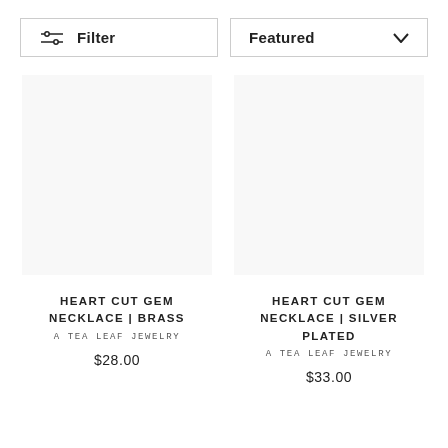Filter
Featured
HEART CUT GEM NECKLACE | BRASS
A TEA LEAF JEWELRY
$28.00
HEART CUT GEM NECKLACE | SILVER PLATED
A TEA LEAF JEWELRY
$33.00